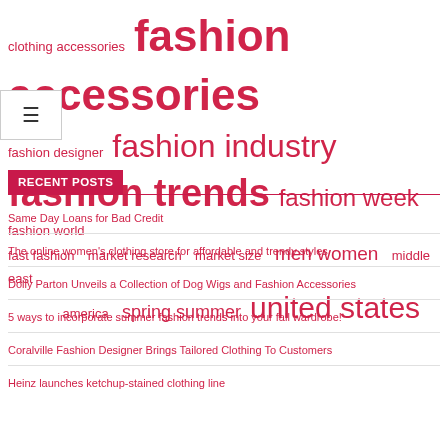clothing accessories fashion accessories fashion designer fashion industry fashion trends fashion week fashion world fast fashion market research market size men women middle east america spring summer united states
RECENT POSTS
Same Day Loans for Bad Credit
The online women's clothing store for affordable and trendy styles
Dolly Parton Unveils a Collection of Dog Wigs and Fashion Accessories
5 ways to incorporate summer fashion trends into your fall wardrobe!
Coralville Fashion Designer Brings Tailored Clothing To Customers
Heinz launches ketchup-stained clothing line